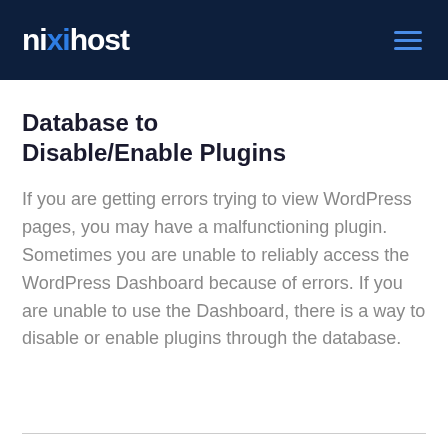nixihost
[Figure (other): Blue copy/clipboard icon in the upper content area]
Database to Disable/Enable Plugins
If you are getting errors trying to view WordPress pages, you may have a malfunctioning plugin. Sometimes you are unable to reliably access the WordPress Dashboard because of errors. If you are unable to use the Dashboard, there is a way to disable or enable plugins through the database.